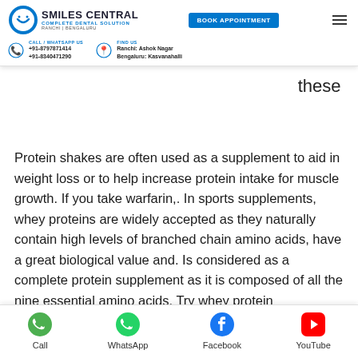[Figure (logo): Smiles Central dental clinic logo with circular smiley icon, Book Appointment button, hamburger menu, phone and location contact details]
ade up
these
Protein shakes are often used as a supplement to aid in weight loss or to help increase protein intake for muscle growth. If you take warfarin,. In sports supplements, whey proteins are widely accepted as they naturally contain high levels of branched chain amino acids, have a great biological value and. Is considered as a complete protein supplement as it is composed of all the nine essential amino acids. Try whey protein concentrate powder from bob's red mill. It dissolves instantly so it's perfect for smoothies and baking. Free shipping on orders over $59! Having adequate protein coming in from your food fuels fat burning
[Figure (infographic): Footer navigation bar with Call, WhatsApp, Facebook, YouTube icons]